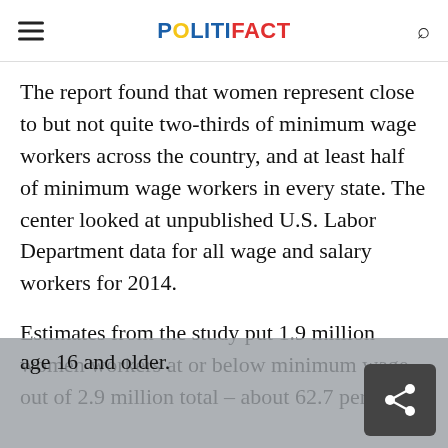POLITIFACT
The report found that women represent close to but not quite two-thirds of minimum wage workers across the country, and at least half of minimum wage workers in every state. The center looked at unpublished U.S. Labor Department data for all wage and salary workers for 2014.
Estimates from the study put 1.9 million women workers at or below minimum wage out of 2.9 million total – about 62.7 percent age 16 and older.